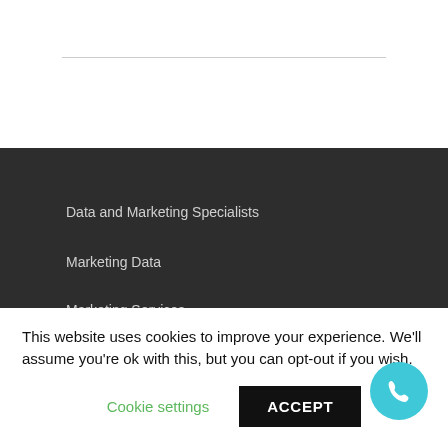Data and Marketing Specialists
Marketing Data
Marketing Services
This website uses cookies to improve your experience. We'll assume you're ok with this, but you can opt-out if you wish.
Cookie settings
ACCEPT